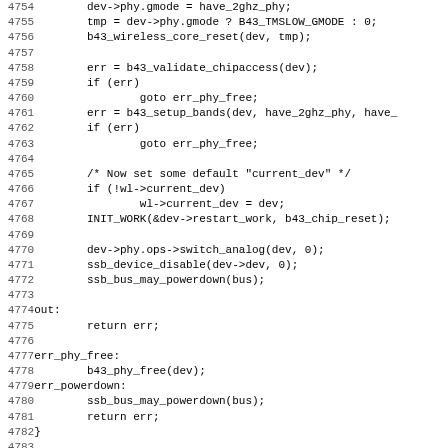Source code listing, lines 4754-4786, C programming language